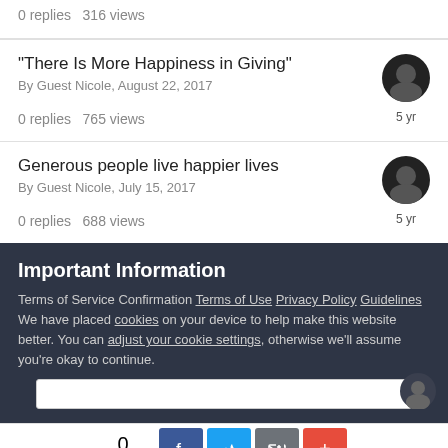0 replies   316 views
"There Is More Happiness in Giving"
By Guest Nicole, August 22, 2017
0 replies   765 views
Generous people live happier lives
By Guest Nicole, July 15, 2017
0 replies   688 views
Important Information
Terms of Service Confirmation Terms of Use Privacy Policy Guidelines We have placed cookies on your device to help make this website better. You can adjust your cookie settings, otherwise we'll assume you're okay to continue.
0 SHARES